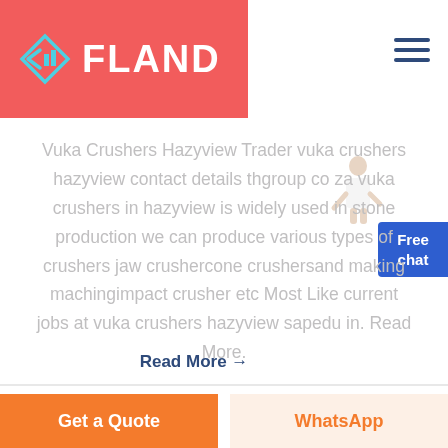[Figure (logo): Fland company logo with geometric diamond/arrow icon in teal/blue and company name FLAND in white bold text on a coral/red background header bar]
Vuka Crushers Hazyview Trader vuka crushers hazyview contact details thgroup co za vuka crushers in hazyview is widely used in stone production we can produce various types of crushers jaw crushercone crushersand making machingimpact crusher etc Most Like current jobs at vuka crushers hazyview sapedu in. Read More.
Read More →
Free chat
Get a Quote
WhatsApp